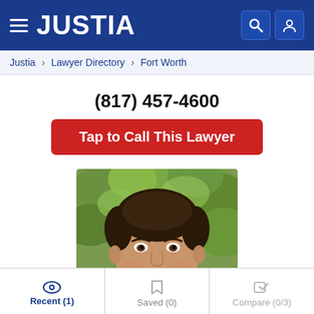JUSTIA
Justia › Lawyer Directory › Fort Worth
(817) 457-4600
Tap to Call This Lawyer
[Figure (photo): Professional headshot of a smiling male lawyer with dark hair, outdoors with green foliage background]
Recent (1)   Saved (0)   Compare (0/3)